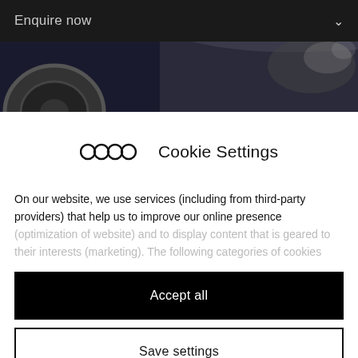Enquire now
[Figure (photo): Partial view of a car wheel and body panel, dark background]
Cookie Settings
On our website, we use services (including from third-party providers) that help us to improve our online presence (optimization of website) and to display content that is geared to their interests (marketing). The following categories of cookies
Accept all
Save settings